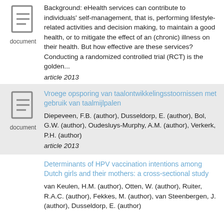Background: eHealth services can contribute to individuals' self-management, that is, performing lifestyle-related activities and decision making, to maintain a good health, or to mitigate the effect of an (chronic) illness on their health. But how effective are these services? Conducting a randomized controlled trial (RCT) is the golden...
article 2013
Vroege opsporing van taalontwikkelingsstoornissen met gebruik van taalmijlpalen
Diepeveen, F.B. (author), Dusseldorp, E. (author), Bol, G.W. (author), Oudesluys-Murphy, A.M. (author), Verkerk, P.H. (author)
article 2013
Determinants of HPV vaccination intentions among Dutch girls and their mothers: a cross-sectional study
van Keulen, H.M. (author), Otten, W. (author), Ruiter, R.A.C. (author), Fekkes, M. (author), van Steenbergen, J. (author), Dusseldorp, E. (author)